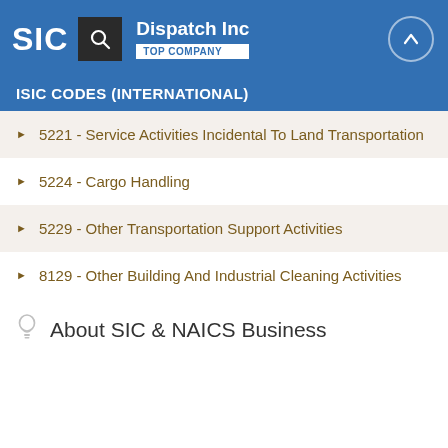SIC | Dispatch Inc | TOP COMPANY
ISIC CODES (INTERNATIONAL)
5221 - Service Activities Incidental To Land Transportation
5224 - Cargo Handling
5229 - Other Transportation Support Activities
8129 - Other Building And Industrial Cleaning Activities
About SIC & NAICS Business